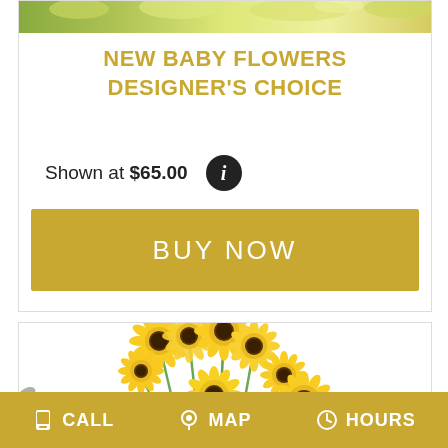[Figure (photo): Top portion of a floral arrangement with yellow-green flowers, cropped at top of card]
NEW BABY FLOWERS DESIGNER'S CHOICE
Shown at $65.00
BUY NOW
[Figure (photo): Yellow gerbera daisy arrangement with eucalyptus and small blue flowers on white background]
CALL  MAP  HOURS